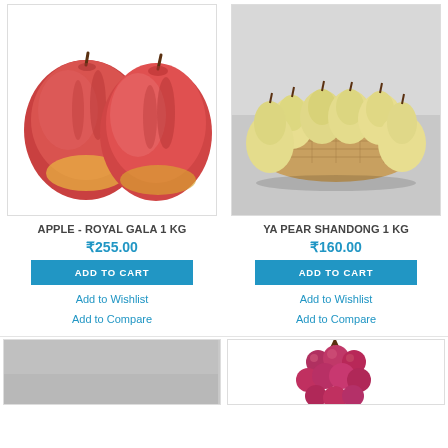[Figure (photo): Two red apples (Royal Gala) on white background]
APPLE - ROYAL GALA 1 KG
₹255.00
ADD TO CART
Add to Wishlist
Add to Compare
[Figure (photo): Ya pears (Shandong) in a wicker basket on grey background]
YA PEAR SHANDONG 1 KG
₹160.00
ADD TO CART
Add to Wishlist
Add to Compare
[Figure (photo): Partially visible fruit product (bottom left card)]
[Figure (photo): Red grapes bunch partially visible (bottom right card)]